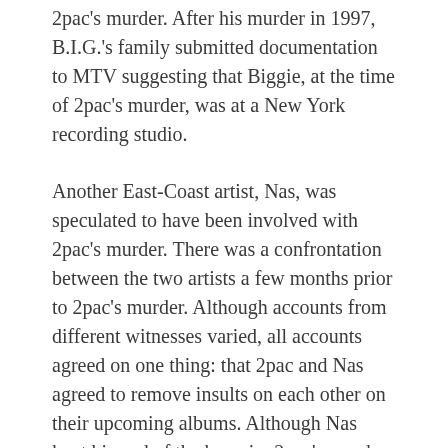2pac's murder. After his murder in 1997, B.I.G.'s family submitted documentation to MTV suggesting that Biggie, at the time of 2pac's murder, was at a New York recording studio.
Another East-Coast artist, Nas, was speculated to have been involved with 2pac's murder. There was a confrontation between the two artists a few months prior to 2pac's murder. Although accounts from different witnesses varied, all accounts agreed on one thing: that 2pac and Nas agreed to remove insults on each other on their upcoming albums. Although Nas kept his end of the bargain, 2pac's murder happened before he could do the same.
2pac's murder still remains a cold case largely due to the lack of hard evidence. 2pac was a brilliant musician, an icon,